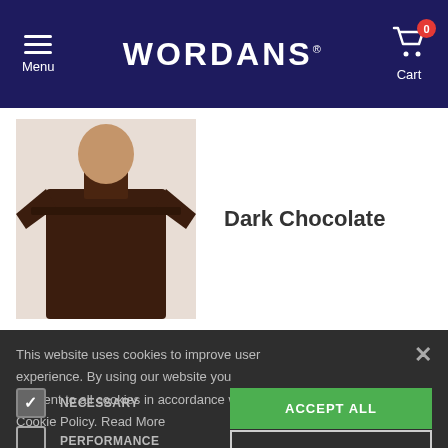Menu | WORDANS | Cart (0)
[Figure (photo): Dark chocolate colored t-shirt on a mannequin]
Dark Chocolate
This website uses cookies to improve user experience. By using our website you consent to all cookies in accordance with our Cookie Policy. Read More
NECESSARY (checked)
PERFORMANCE
ADVERTISING
FUNCTIONALITY